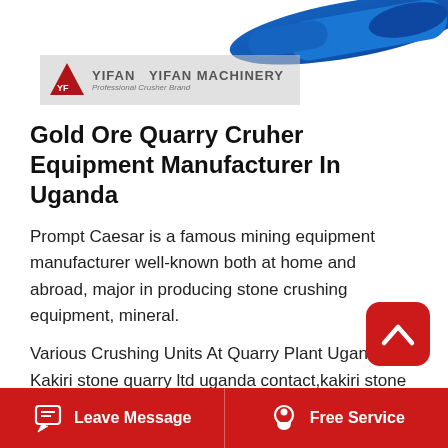[Figure (photo): Blue industrial machinery/crusher equipment shown from the side, with Yifan Machinery logo banner overlaid on a grey semi-transparent background. Text reads: YIFAN MACHINERY - Professional Crusher Brand.]
Gold Ore Quarry Cruher Equipment Manufacturer In Uganda
Prompt Caesar is a famous mining equipment manufacturer well-known both at home and abroad, major in producing stone crushing equipment, mineral.
Various Crushing Units At Quarry Plant Uganda. Kakiri stone quarry ltd uganda contact,kakiri stone quarry ltd its mission ipcgroup.org.in. slate stone quarry kenya youtube. mar 21, 2017 We stone crushing machine suppliers kenya stone crusher machine for mobile crushing quarry land in kenya,
Leave Message | Free Service